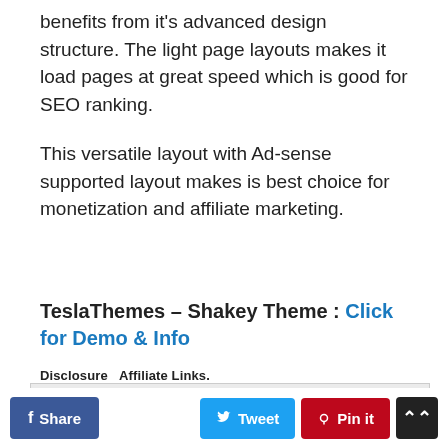benefits from it's advanced design structure. The light page layouts makes it load pages at great speed which is good for SEO ranking.
This versatile layout with Ad-sense supported layout makes is best choice for monetization and affiliate marketing.
TeslaThemes – Shakey Theme : Click for Demo & Info
Disclosure   Affiliate Links.
Disclosure of Material Connection: Some of the links in the post above are "affiliate links." This means if you click on the link and purchase the item, I will receive an affiliate commission. Regardless, I only recommend products or services I use personally and believe will add value to my readers. I am disclosing this in accordance with the Federal Trade Commission's 16 CFR, Part 255: "Guides Concerning the Use of Endorsements and Testimonials in Advertising."
f Share   Tweet   Pin it